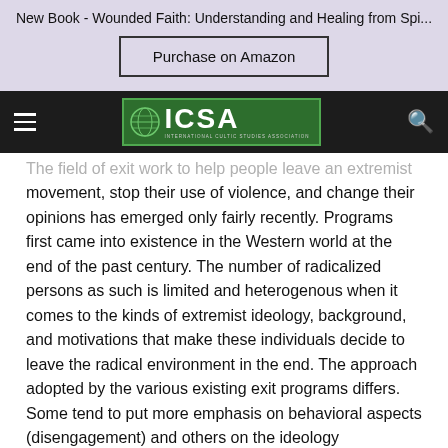New Book - Wounded Faith: Understanding and Healing from Spi...
[Figure (other): Purchase on Amazon button in lavender banner]
[Figure (logo): ICSA International Cultic Studies Association logo on dark navigation bar]
The field of exit work to help people leave an extremist movement, stop their use of violence, and change their opinions has emerged only fairly recently. Programs first came into existence in the Western world at the end of the past century. The number of radicalized persons as such is limited and heterogenous when it comes to the kinds of extremist ideology, background, and motivations that make these individuals decide to leave the radical environment in the end. The approach adopted by the various existing exit programs differs. Some tend to put more emphasis on behavioral aspects (disengagement) and others on the ideology (deradicalization). Some programs are based on the rapeutic psychological insights; others on youth work...